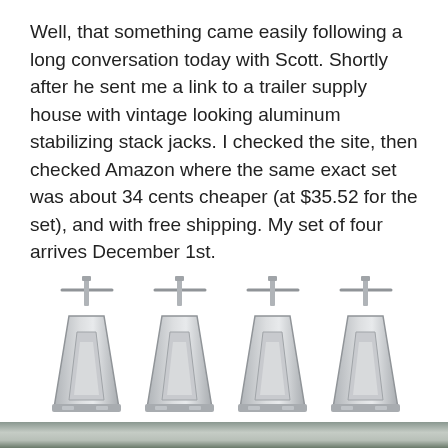Well, that something came easily following a long conversation today with Scott. Shortly after he sent me a link to a trailer supply house with vintage looking aluminum stabilizing stack jacks. I checked the site, then checked Amazon where the same exact set was about 34 cents cheaper (at $35.52 for the set), and with free shipping. My set of four arrives December 1st.
[Figure (photo): Four aluminum stabilizing stack jacks (trailer jacks) shown side by side, silver/grey metallic color, triangular pyramid base shape with a vertical center post and horizontal handle bars at the top.]
[Figure (photo): Partial photo at the bottom of the page showing a rooftop and bare tree branches against an overcast sky, appears to be a house exterior.]